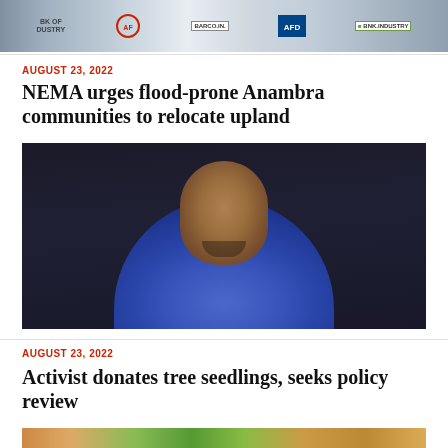[Figure (photo): Top banner image showing people standing in front of logos including AFD and Bank of Industry banners]
AUGUST 23, 2022
NEMA urges flood-prone Anambra communities to relocate upland
[Figure (photo): Portrait photo of a man in a blue shirt with clasped hands, smiling, against a dark background]
AUGUST 23, 2022
Activist donates tree seedlings, seeks policy review
[Figure (photo): Bottom partial image showing colorful food or plants]